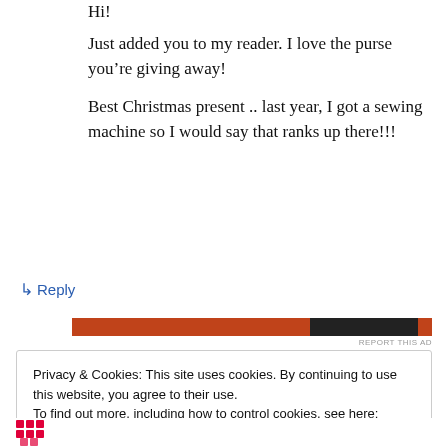Hi!
Just added you to my reader. I love the purse you’re giving away!
Best Christmas present .. last year, I got a sewing machine so I would say that ranks up there!!!
↳ Reply
[Figure (other): Horizontal advertisement bar with orange/rust color on left (~66%), black in center-right, and small red segment on far right]
REPORT THIS AD
Privacy & Cookies: This site uses cookies. By continuing to use this website, you agree to their use.
To find out more, including how to control cookies, see here: Cookie Policy
Close and accept